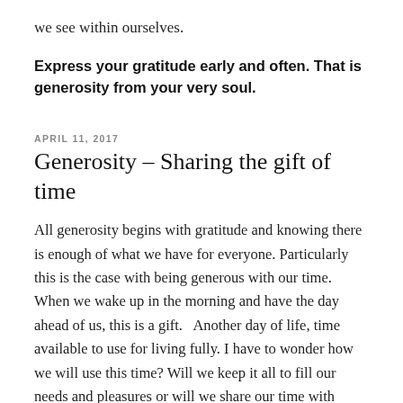we see within ourselves.
Express your gratitude early and often. That is generosity from your very soul.
APRIL 11, 2017
Generosity – Sharing the gift of time
All generosity begins with gratitude and knowing there is enough of what we have for everyone. Particularly this is the case with being generous with our time. When we wake up in the morning and have the day ahead of us, this is a gift.   Another day of life, time available to use for living fully. I have to wonder how we will use this time? Will we keep it all to fill our needs and pleasures or will we share our time with others by giving in some manner? Giving our time to others is sharing what the Universe